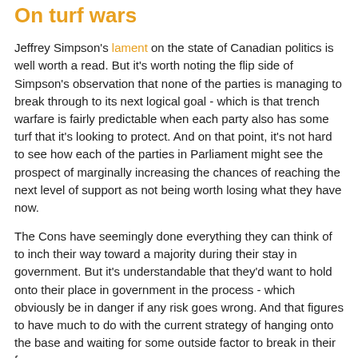On turf wars
Jeffrey Simpson's lament on the state of Canadian politics is well worth a read. But it's worth noting the flip side of Simpson's observation that none of the parties is managing to break through to its next logical goal - which is that trench warfare is fairly predictable when each party also has some turf that it's looking to protect. And on that point, it's not hard to see how each of the parties in Parliament might see the prospect of marginally increasing the chances of reaching the next level of support as not being worth losing what they have now.
The Cons have seemingly done everything they can think of to inch their way toward a majority during their stay in government. But it's understandable that they'd want to hold onto their place in government in the process - which obviously be in danger if any risk goes wrong. And that figures to have much to do with the current strategy of hanging onto the base and waiting for some outside factor to break in their favour.